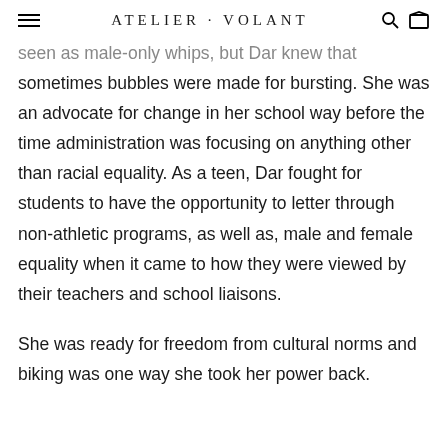ATELIER VOLANT
seen as male-only whips, but Dar knew that sometimes bubbles were made for bursting. She was an advocate for change in her school way before the time administration was focusing on anything other than racial equality. As a teen, Dar fought for students to have the opportunity to letter through non-athletic programs, as well as, male and female equality when it came to how they were viewed by their teachers and school liaisons.
She was ready for freedom from cultural norms and biking was one way she took her power back.